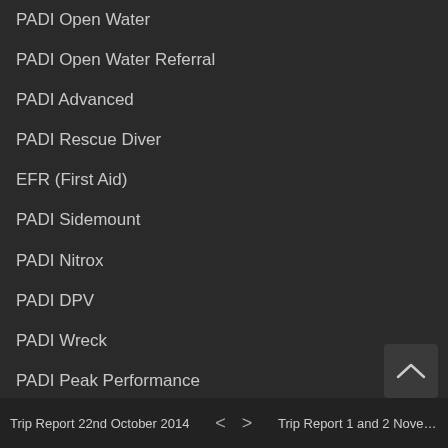PADI Open Water
PADI Open Water Referral
PADI Advanced
PADI Rescue Diver
EFR (First Aid)
PADI Sidemount
PADI Nitrox
PADI DPV
PADI Wreck
PADI Peak Performance
SMB Deployment
PADI Night
PADI Search & Recovery
Trip Report 22nd October 2014   <   >   Trip Report 1 and 2 November 2...